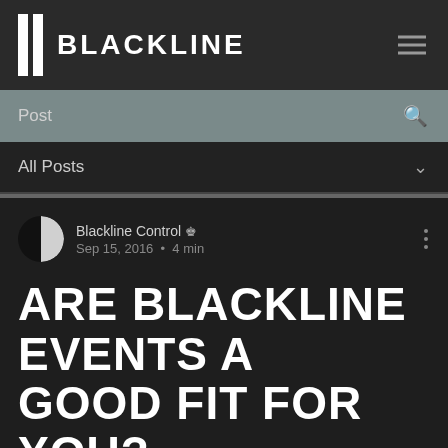BLACKLINE
Post
All Posts
Blackline Control · Sep 15, 2016 · 4 min
ARE BLACKLINE EVENTS A GOOD FIT FOR YOU?